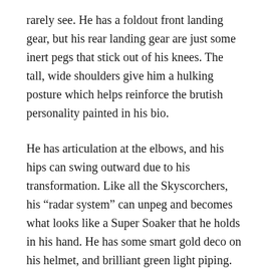rarely see. He has a foldout front landing gear, but his rear landing gear are just some inert pegs that stick out of his knees. The tall, wide shoulders give him a hulking posture which helps reinforce the brutish personality painted in his bio.
He has articulation at the elbows, and his hips can swing outward due to his transformation. Like all the Skyscorchers, his “radar system” can unpeg and becomes what looks like a Super Soaker that he holds in his hand. He has some smart gold deco on his helmet, and brilliant green light piping. The same translucent green is used on his canopy, which creates a striking contrast against the black and white of his body. Finally some foil stickers help break up his deco and provide